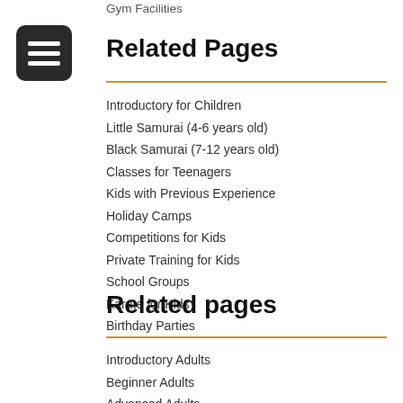Gym Facilities
Related Pages
Introductory for Children
Little Samurai (4-6 years old)
Black Samurai (7-12 years old)
Classes for Teenagers
Kids with Previous Experience
Holiday Camps
Competitions for Kids
Private Training for Kids
School Groups
Karate for Kids
Birthday Parties
Related pages
Introductory Adults
Beginner Adults
Advanced Adults
Private Training
Competitions